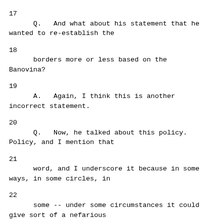17    Q.   And what about his statement that he wanted to re-establish the
18    borders more or less based on the Banovina?
19    A.   Again, I think this is another incorrect statement.
20    Q.   Now, he talked about this policy. Policy, and I mention that
21    word, and I underscore it because in some ways, in some circles, in
22    some -- under some circumstances it could give sort of a nefarious
23    notion.  Let me ask you this being familiar with the Croatian